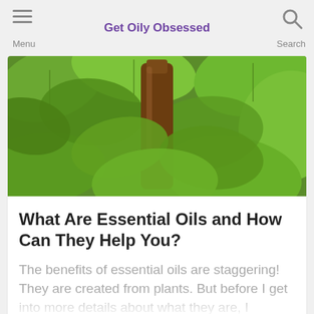Get Oily Obsessed
[Figure (photo): Close-up photo of green mint leaves with a dark amber essential oil bottle in the center]
What Are Essential Oils and How Can They Help You?
The benefits of essential oils are staggering!  They are created from plants. But before I get into more details about what they are, I
Read More